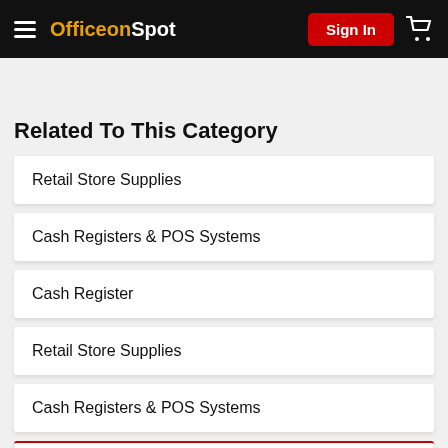OfficeonSpot — Sign In — Cart
Search Products ?
Related To This Category
Retail Store Supplies
Cash Registers & POS Systems
Cash Register
Retail Store Supplies
Cash Registers & POS Systems
Cash Register